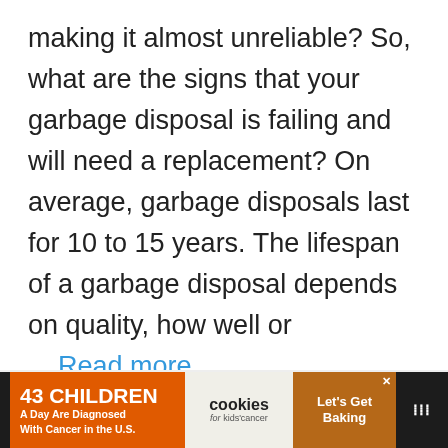making it almost unreliable? So, what are the signs that your garbage disposal is failing and will need a replacement? On average, garbage disposals last for 10 to 15 years. The lifespan of a garbage disposal depends on quality, how well or ... Read more
[Figure (screenshot): Advertisement banner at the bottom: '43 CHILDREN A Day Are Diagnosed With Cancer in the U.S.' with cookies for kids cancer logo and 'Let's Get Baking' section]